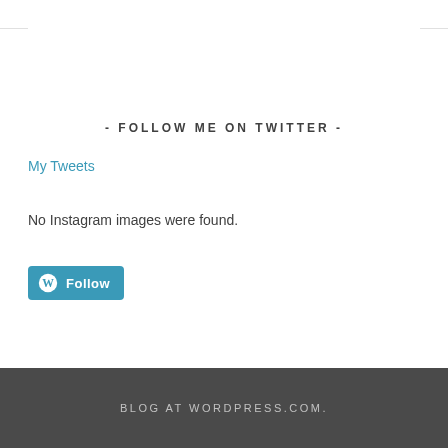- FOLLOW ME ON TWITTER -
My Tweets
No Instagram images were found.
[Figure (other): WordPress Follow button with blue background and WP logo icon]
BLOG AT WORDPRESS.COM.